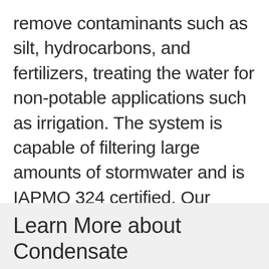remove contaminants such as silt, hydrocarbons, and fertilizers, treating the water for non-potable applications such as irrigation. The system is capable of filtering large amounts of stormwater and is IAPMO 324 certified. Our Stormwater Harvesting Systems make it possible to protect ecosystems, conserve water resources and reduce loads on local stormwater systems in any community.
Learn More about Condensate